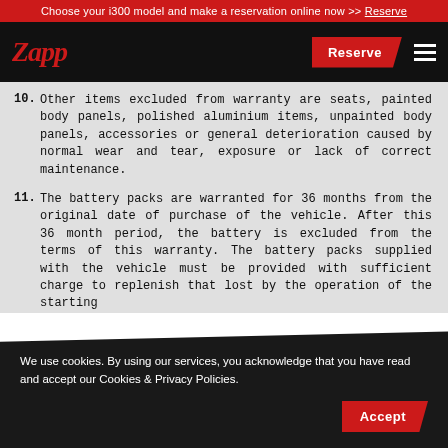Choose your i300 model and make a reservation online now >> Reserve
10. Other items excluded from warranty are seats, painted body panels, polished aluminium items, unpainted body panels, accessories or general deterioration caused by normal wear and tear, exposure or lack of correct maintenance.
11. The battery packs are warranted for 36 months from the original date of purchase of the vehicle. After this 36 month period, the battery is excluded from the terms of this warranty. The battery packs supplied with the vehicle must be provided with sufficient charge to replenish that lost by the operation of the starting
We use cookies. By using our services, you acknowledge that you have read and accept our Cookies & Privacy Policies.